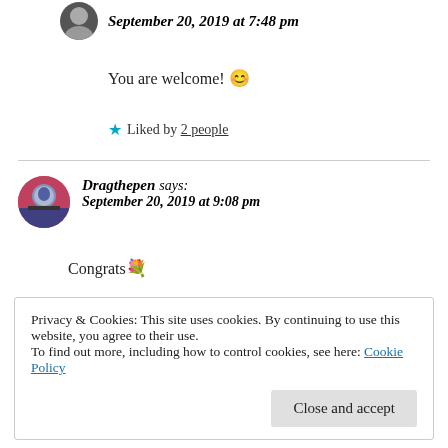September 20, 2019 at 7:48 pm
You are welcome! 😊
★ Liked by 2 people
Dragthepen says: September 20, 2019 at 9:08 pm
Congrats 💐
Privacy & Cookies: This site uses cookies. By continuing to use this website, you agree to their use.
To find out more, including how to control cookies, see here: Cookie Policy
Close and accept